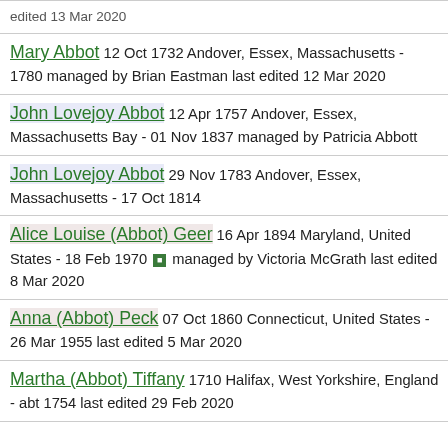edited 13 Mar 2020
Mary Abbot 12 Oct 1732 Andover, Essex, Massachusetts - 1780 managed by Brian Eastman last edited 12 Mar 2020
John Lovejoy Abbot 12 Apr 1757 Andover, Essex, Massachusetts Bay - 01 Nov 1837 managed by Patricia Abbott
John Lovejoy Abbot 29 Nov 1783 Andover, Essex, Massachusetts - 17 Oct 1814
Alice Louise (Abbot) Geer 16 Apr 1894 Maryland, United States - 18 Feb 1970 managed by Victoria McGrath last edited 8 Mar 2020
Anna (Abbot) Peck 07 Oct 1860 Connecticut, United States - 26 Mar 1955 last edited 5 Mar 2020
Martha (Abbot) Tiffany 1710 Halifax, West Yorkshire, England - abt 1754 last edited 29 Feb 2020